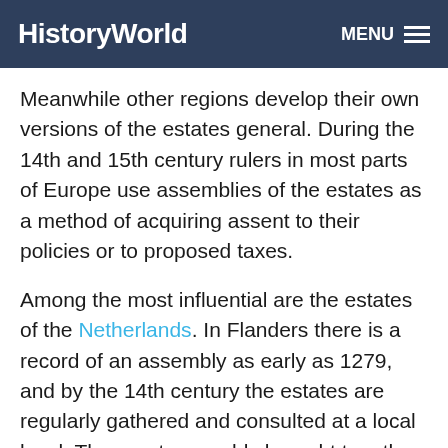HistoryWorld
Meanwhile other regions develop their own versions of the estates general. During the 14th and 15th century rulers in most parts of Europe use assemblies of the estates as a method of acquiring assent to their policies or to proposed taxes.
Among the most influential are the estates of the Netherlands. In Flanders there is a record of an assembly as early as 1279, and by the 14th century the estates are regularly gathered and consulted at a local level. The great assembly brought together at Bruges in 1463-4 is generally regarded as the first full gathering of the Netherlands States General - an institution which later plays such an important part in Dutch history.
The royal dynasty of Aragon makes effective use of the